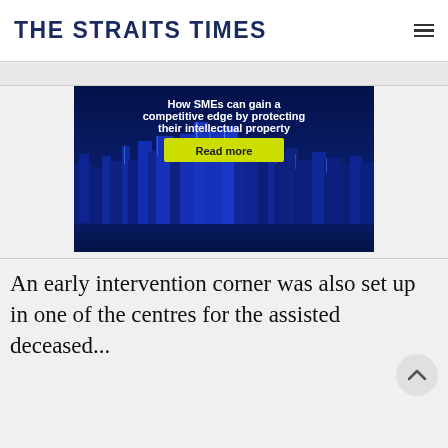THE STRAITS TIMES
[Figure (illustration): Advertisement banner: night cityscape of Singapore skyline with text 'How SMEs can gain a competitive edge by protecting their intellectual property' and a yellow 'Read more' button]
An early intervention corner was also set up in one of the centres for the assisted deceased...